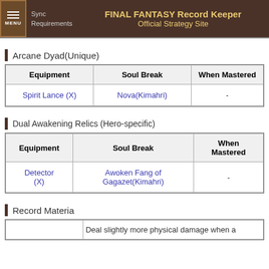Sync Requirements | FINAL FANTASY Record Keeper Official Strategy Site
Arcane Dyad(Unique)
| Equipment | Soul Break | When Mastered |
| --- | --- | --- |
| Spirit Lance (X) | Nova(Kimahri) | - |
Dual Awakening Relics (Hero-specific)
| Equipment | Soul Break | When Mastered |
| --- | --- | --- |
| Detector (X) | Awoken Fang of Gagazet(Kimahri) | - |
Record Materia
|  | Deal slightly more physical damage when a |